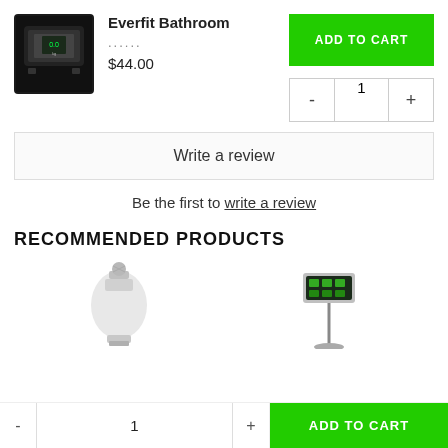Everfit Bathroom
......
$44.00
ADD TO CART
- 1 +
Write a review
Be the first to write a review
RECOMMENDED PRODUCTS
[Figure (photo): Light bulb product photo]
[Figure (photo): Digital display on stand product photo]
- 1 + ADD TO CART